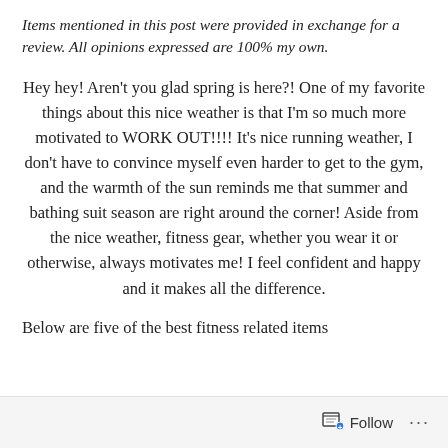Items mentioned in this post were provided in exchange for a review. All opinions expressed are 100% my own.
Hey hey! Aren't you glad spring is here?! One of my favorite things about this nice weather is that I'm so much more motivated to WORK OUT!!!! It's nice running weather, I don't have to convince myself even harder to get to the gym, and the warmth of the sun reminds me that summer and bathing suit season are right around the corner! Aside from the nice weather, fitness gear, whether you wear it or otherwise, always motivates me! I feel confident and happy and it makes all the difference.
Below are five of the best fitness related items
Follow ...